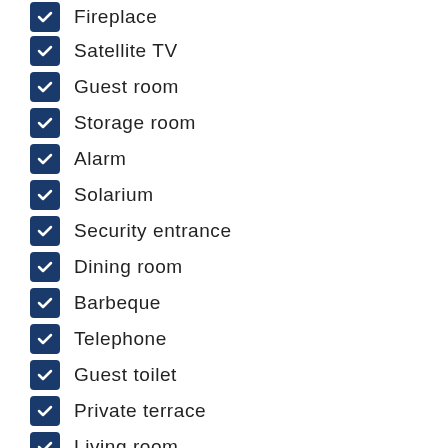Fireplace
Satellite TV
Guest room
Storage room
Alarm
Solarium
Security entrance
Dining room
Barbeque
Telephone
Guest toilet
Private terrace
Living room